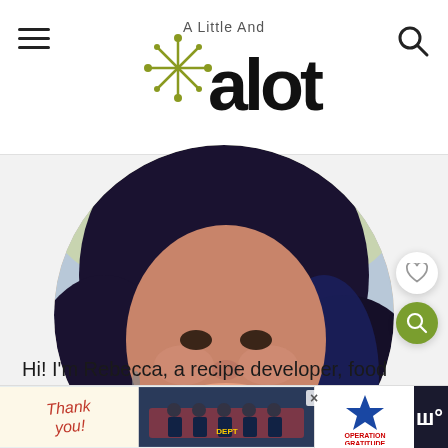A Little And A Lot
[Figure (photo): Circular cropped photo of Rebecca, a woman with dark blue-tipped hair, smiling, wearing a light scarf, close-up portrait shot]
Hi! I'm Rebecca, a recipe developer, food photographer, and full time RV nomad.
My husband Steve and I are digital nomads
[Figure (photo): Advertisement banner at the bottom showing 'Thank you!' text with pencils and a group photo of firefighters with 'Operation Gratitude' logo]